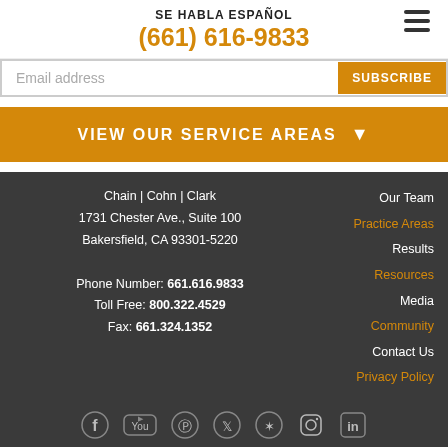SE HABLA ESPAÑOL
(661) 616-9833
Email address
SUBSCRIBE
VIEW OUR SERVICE AREAS
Chain | Cohn | Clark
1731 Chester Ave., Suite 100
Bakersfield, CA 93301-5220
Phone Number: 661.616.9833
Toll Free: 800.322.4529
Fax: 661.324.1352
Our Team
Practice Areas
Results
Resources
Media
Community
Contact Us
Privacy Policy
[Figure (other): Social media icons row: Facebook, YouTube, Pinterest, Twitter, Yelp, Instagram, LinkedIn]